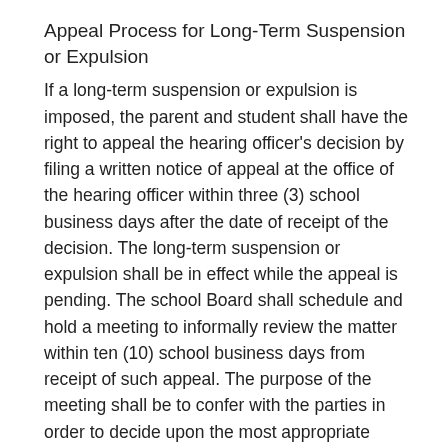Appeal Process for Long-Term Suspension or Expulsion
If a long-term suspension or expulsion is imposed, the parent and student shall have the right to appeal the hearing officer's decision by filing a written notice of appeal at the office of the hearing officer within three (3) school business days after the date of receipt of the decision. The long-term suspension or expulsion shall be in effect while the appeal is pending. The school Board shall schedule and hold a meeting to informally review the matter within ten (10) school business days from receipt of such appeal. The purpose of the meeting shall be to confer with the parties in order to decide upon the most appropriate means of handling the appeal. At that time, the student, parent, and/or counsel shall be given the right to be heard and shall be granted